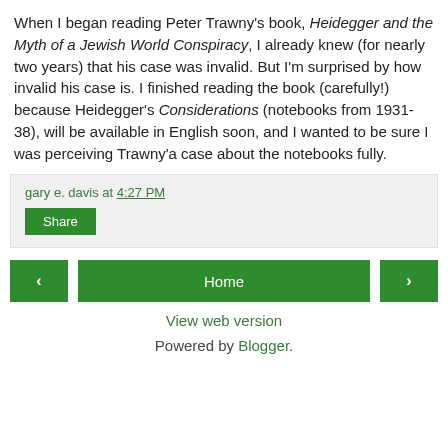When I began reading Peter Trawny's book, Heidegger and the Myth of a Jewish World Conspiracy, I already knew (for nearly two years) that his case was invalid. But I'm surprised by how invalid his case is. I finished reading the book (carefully!) because Heidegger's Considerations (notebooks from 1931-38), will be available in English soon, and I wanted to be sure I was perceiving Trawny'a case about the notebooks fully.
gary e. davis at 4:27 PM
Share
‹
Home
›
View web version
Powered by Blogger.